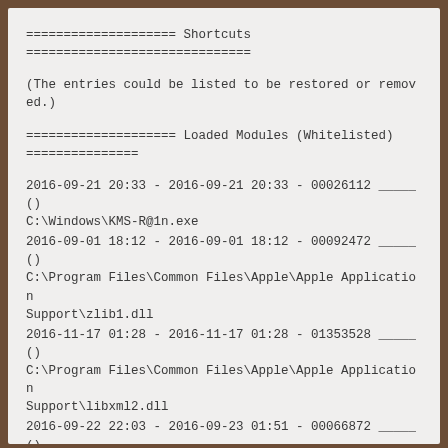==================== Shortcuts
==============================
(The entries could be listed to be restored or removed.)
==================== Loaded Modules (Whitelisted)
===============
2016-09-21 20:33 - 2016-09-21 20:33 - 00026112 _____ () C:\Windows\KMS-R@1n.exe
2016-09-01 18:12 - 2016-09-01 18:12 - 00092472 _____ () C:\Program Files\Common Files\Apple\Apple Application Support\zlib1.dll
2016-11-17 01:28 - 2016-11-17 01:28 - 01353528 _____ () C:\Program Files\Common Files\Apple\Apple Application Support\libxml2.dll
2016-09-22 22:03 - 2016-09-23 01:51 - 00066872 _____ () C:\Windows\SysWOW64\PnkBstrA.exe
2016-08-26 16:08 - 2016-08-26 16:08 - 00192200 _____ () C:\Program Files (x86)\HiSuite\HandSetService\HuaweiHiSuiteService64.exe
2016-10-08 17:33 - 2016-09-30 11:25 - 04490808 _____ ()